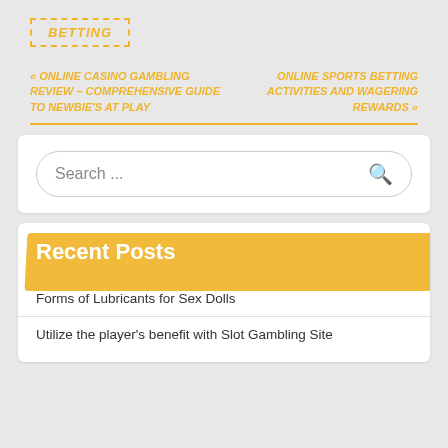BETTING
« ONLINE CASINO GAMBLING REVIEW – COMPREHENSIVE GUIDE TO NEWBIE'S AT PLAY
ONLINE SPORTS BETTING ACTIVITIES AND WAGERING REWARDS »
[Figure (screenshot): Search bar with placeholder text 'Search ...' and a magnifying glass icon]
Recent Posts
Forms of Lubricants for Sex Dolls
Utilize the player's benefit with Slot Gambling Site